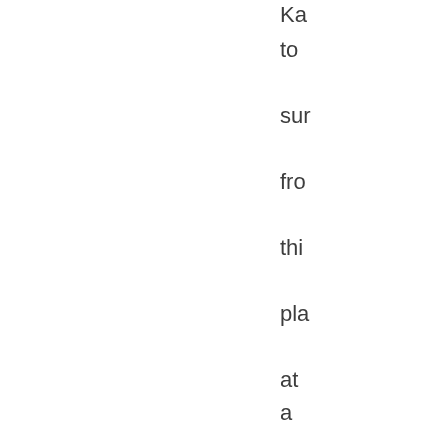Ka to sur fro thi pla at a lon dis to tak a me of all del je